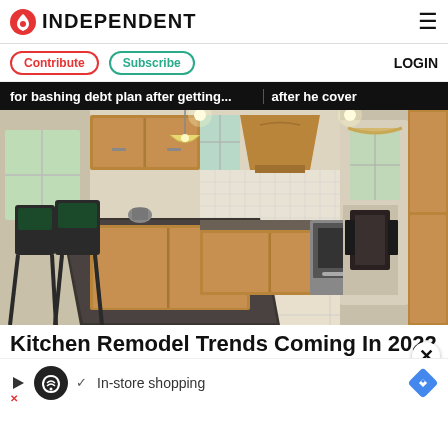INDEPENDENT
Contribute  Subscribe  LOGIN
for bashing debt plan after getting...  after he cover
[Figure (photo): Modern kitchen interior with dark granite island, bar stools, wooden cabinets, stainless steel oven, pendant light, and view into dining area]
Kitchen Remodel Trends Coming In 2022
In-store shopping